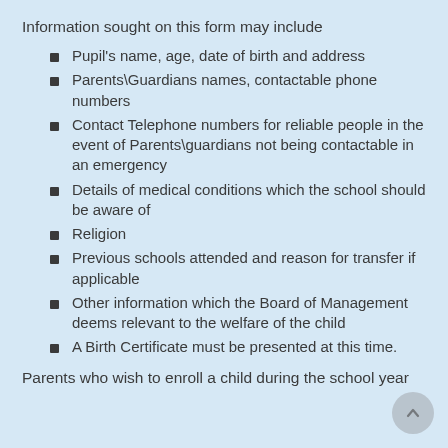Information sought on this form may include
Pupil's name, age, date of birth and address
Parents\Guardians names, contactable phone numbers
Contact Telephone numbers for reliable people in the event of Parents\guardians not being contactable in an emergency
Details of medical conditions which the school should be aware of
Religion
Previous schools attended and reason for transfer if applicable
Other information which the Board of Management deems relevant to the welfare of the child
A Birth Certificate must be presented at this time.
Parents who wish to enroll a child during the school year